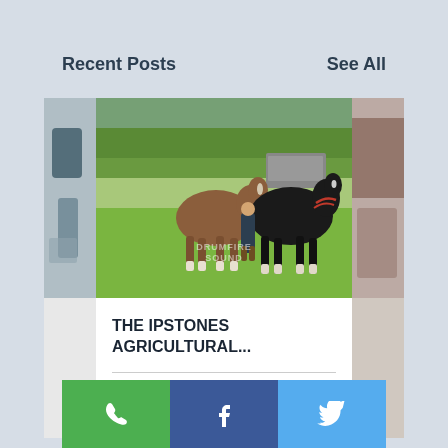Recent Posts
See All
[Figure (photo): Photo of two horses (one brown, one black) being shown at an agricultural show on a green grass field, with trees and a vehicle in the background. A watermark reads 'DRUMFIRE SOUND'.]
THE IPSTONES AGRICULTURAL...
39 views, heart/like icon